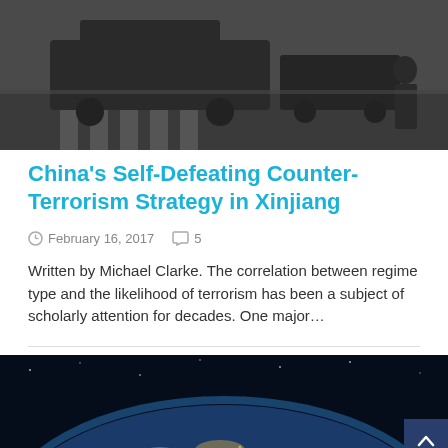[Figure (photo): Street scene with military or police vehicles on a road, pedestrians visible on the right side. Dark, moody tone.]
China's Self-Defeating Counter-Terrorism Strategy in Xinjiang
February 16, 2017   5
Written by Michael Clarke. The correlation between regime type and the likelihood of terrorism has been a subject of scholarly attention for decades. One major…
[Figure (photo): Satellite or aerial view of Earth at night showing city lights, with the Earth's curvature visible against a dark background.]